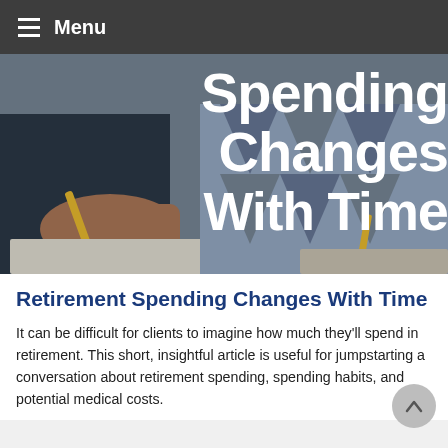Menu
[Figure (photo): Two people writing/studying at a desk, with large bold white text overlay reading 'Spending Changes With Time' on a dark photographic background.]
Retirement Spending Changes With Time
It can be difficult for clients to imagine how much they'll spend in retirement. This short, insightful article is useful for jumpstarting a conversation about retirement spending, spending habits, and potential medical costs.